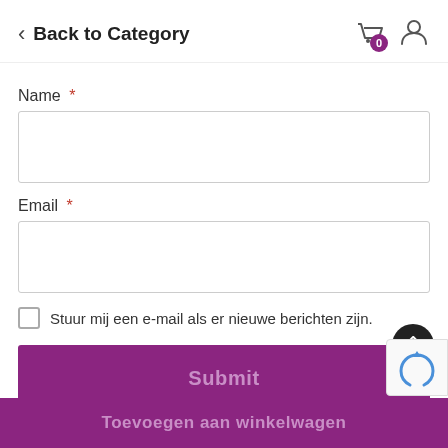Back to Category
Name *
Email *
Stuur mij een e-mail als er nieuwe berichten zijn.
Submit
Toevoegen aan winkelwagen